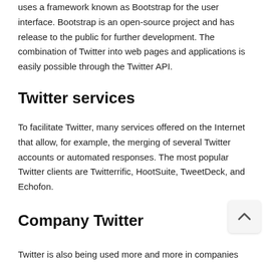uses a framework known as Bootstrap for the user interface. Bootstrap is an open-source project and has release to the public for further development. The combination of Twitter into web pages and applications is easily possible through the Twitter API.
Twitter services
To facilitate Twitter, many services offered on the Internet that allow, for example, the merging of several Twitter accounts or automated responses. The most popular Twitter clients are Twitterrific, HootSuite, TweetDeck, and Echofon.
Company Twitter
Twitter is also being used more and more in companies